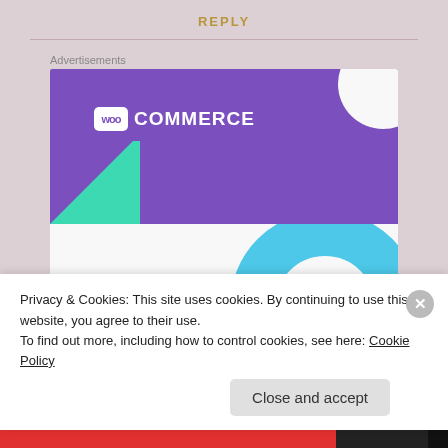REPLY
Advertisements
[Figure (illustration): WooCommerce advertisement banner showing the WooCommerce logo on a purple background with teal and blue geometric shapes, and text 'How to start selling subscriptions online' on a light background with a purple button]
Privacy & Cookies: This site uses cookies. By continuing to use this website, you agree to their use.
To find out more, including how to control cookies, see here: Cookie Policy
Close and accept